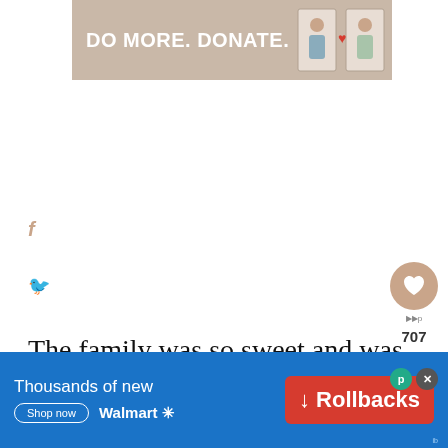[Figure (other): Top banner advertisement with tan/beige background reading 'DO MORE. DONATE.' with illustration of two people]
[Figure (other): Facebook and Twitter social share icons on left side]
[Figure (other): Heart like button showing 707 likes, and share icon on right side]
The family was so sweet and was more than happy to show us how they their handloom patterns.
[Figure (other): What's Next panel with circular photo and text 'An Essential Jorhat to...']
Nearly every hut on stilts had a loom that
[Figure (other): Bottom Walmart advertisement: 'Thousands of new' with 'Shop now' button and Walmart logo, red Rollbacks button]